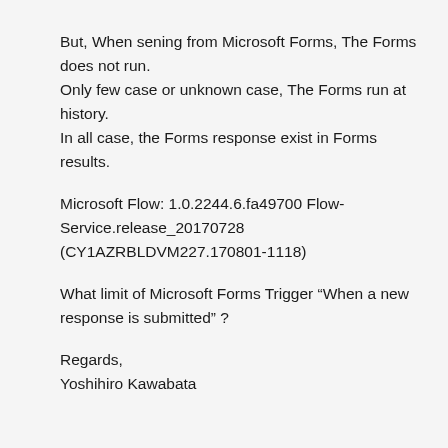But, When sening from Microsoft Forms, The Forms does not run.
Only few case or unknown case, The Forms run at history.
In all case, the Forms response exist in Forms results.
Microsoft Flow: 1.0.2244.6.fa49700 Flow-Service.release_20170728 (CY1AZRBLDVM227.170801-1118)
What limit of Microsoft Forms Trigger “When a new response is submitted” ?
Regards,
Yoshihiro Kawabata